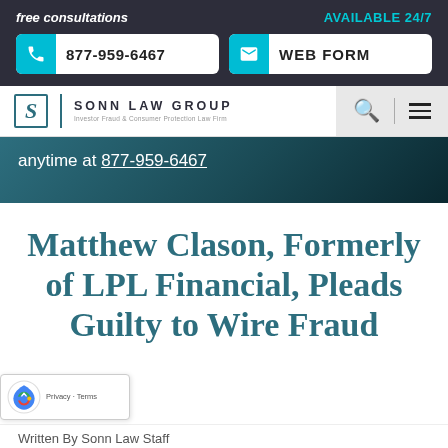free consultations | AVAILABLE 24/7 | 877-959-6467 | WEB FORM
[Figure (logo): Sonn Law Group logo — Investor Fraud & Consumer Protection Law Firm]
anytime at 877-959-6467
Matthew Clason, Formerly of LPL Financial, Pleads Guilty to Wire Fraud
Written By Sonn Law Staff